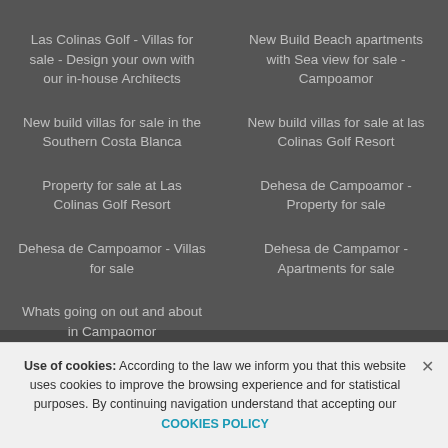Las Colinas Golf - Villas for sale - Design your own with our in-house Architects
New Build Beach apartments with Sea view for sale - Campoamor
New build villas for sale in the Southern Costa Blanca
New build villas for sale at las Colinas Golf Resort
Property for sale at Las Colinas Golf Resort
Dehesa de Campoamor - Property for sale
Dehesa de Campoamor - Villas for sale
Dehesa de Campamor - Apartments for sale
Whats going on out and about in Campaomor
© Casas de Luxe 2022 • Legal • Privacy • Web Map
Use of cookies: According to the law we inform you that this website uses cookies to improve the browsing experience and for statistical purposes. By continuing navigation understand that accepting our COOKIES POLICY